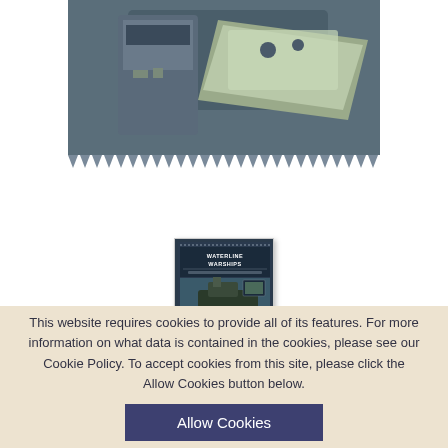[Figure (photo): Aerial/overhead view of naval warship models showing ship decks and hull details in grey-green tones, with a triangular border pattern at the bottom of the image]
[Figure (photo): Small book cover thumbnail for 'Waterline Warships' showing ship imagery on a dark blue background]
Waterline Warships
This website requires cookies to provide all of its features. For more information on what data is contained in the cookies, please see our Cookie Policy. To accept cookies from this site, please click the Allow Cookies button below.
Allow Cookies